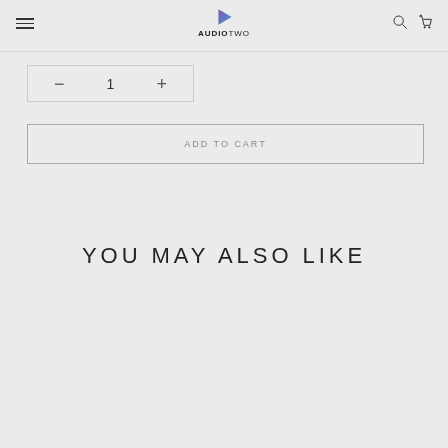AUDIOTWO
— 1 +
ADD TO CART
YOU MAY ALSO LIKE